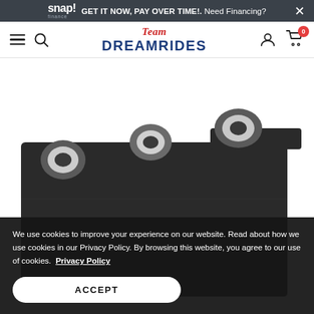snap! finance GET IT NOW, PAY OVER TIME!. Need Financing? ×
Team DREAMRIDES — navigation bar with hamburger, search, account, cart (0)
[Figure (photo): Close-up photo of a black electronic module/component with three metal ring terminals on top, on a white background.]
We use cookies to improve your experience on our website. Read about how we use cookies in our Privacy Policy. By browsing this website, you agree to our use of cookies. Privacy Policy
ACCEPT